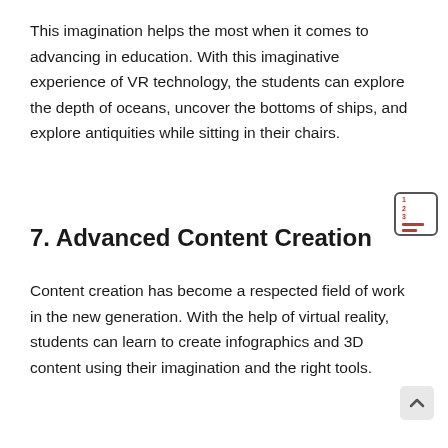This imagination helps the most when it comes to advancing in education. With this imaginative experience of VR technology, the students can explore the depth of oceans, uncover the bottoms of ships, and explore antiquities while sitting in their chairs.
7. Advanced Content Creation
Content creation has become a respected field of work in the new generation. With the help of virtual reality, students can learn to create infographics and 3D content using their imagination and the right tools.